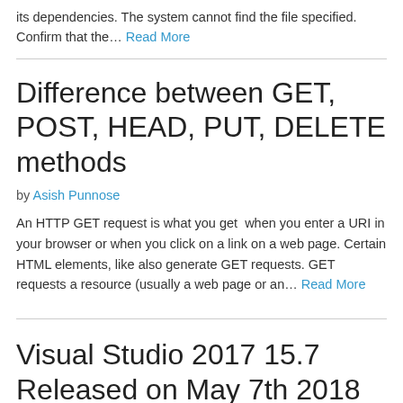its dependencies. The system cannot find the file specified. Confirm that the… Read More
Difference between GET, POST, HEAD, PUT, DELETE methods
by Asish Punnose
An HTTP GET request is what you get  when you enter a URI in your browser or when you click on a link on a web page. Certain HTML elements, like also generate GET requests. GET requests a resource (usually a web page or an… Read More
Visual Studio 2017 15.7 Released on May 7th 2018